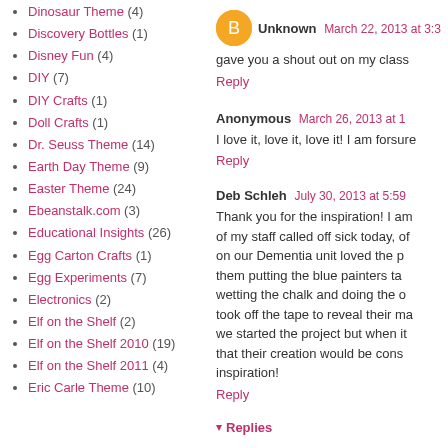Dinosaur Theme (4)
Discovery Bottles (1)
Disney Fun (4)
DIY (7)
DIY Crafts (1)
Doll Crafts (1)
Dr. Seuss Theme (14)
Earth Day Theme (9)
Easter Theme (24)
Ebeanstalk.com (3)
Educational Insights (26)
Egg Carton Crafts (1)
Egg Experiments (7)
Electronics (2)
Elf on the Shelf (2)
Elf on the Shelf 2010 (19)
Elf on the Shelf 2011 (4)
Eric Carle Theme (10)
Unknown March 22, 2013 at 3:38 - gave you a shout out on my class...
Reply
Anonymous March 26, 2013 at 1... - I love it, love it, love it! I am forsure...
Reply
Deb Schleh July 30, 2013 at 5:59 - Thank you for the inspiration! I am... of my staff called off sick today, of... on our Dementia unit loved the p... them putting the blue painters ta... wetting the chalk and doing the o... took off the tape to reveal their ma... we started the project but when it... that their creation would be cons... inspiration!
Reply
Replies